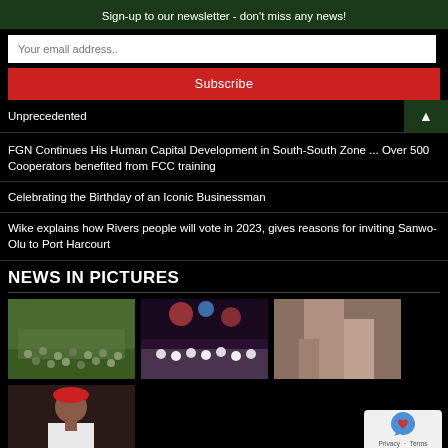Sign-up to our newsletter - don't miss any news!
Your email address..
Subscribe
Unprecedented
FGN Continues His Human Capital Development in South-South Zone ... Over 500 Cooperators benefited from FCC training
Celebrating the Birthday of an Iconic Businessman
Wike explains how Rivers people will vote in 2023, gives reasons for inviting Sanwo-Olu to Port Harcourt
NEWS IN PICTURES
[Figure (photo): A crowd of people gathered outdoors on a green field during the day]
[Figure (photo): A night event with people in white clothing and stage lights]
[Figure (photo): Close-up of hands/lower body of a person]
[Figure (photo): Portrait of a man wearing a red cap and white traditional attire]